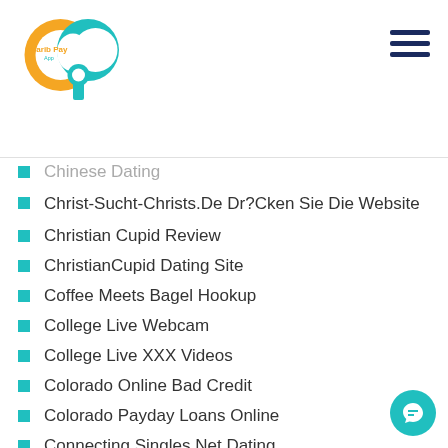Carib Pay App — navigation header with hamburger menu
Chinese Dating (partial, cut off at top)
Christ-Sucht-Christs.De Dr?Cken Sie Die Website
Christian Cupid Review
ChristianCupid Dating Site
Coffee Meets Bagel Hookup
College Live Webcam
College Live XXX Videos
Colorado Online Bad Credit
Colorado Payday Loans Online
Connecting Singles Net Dating
Connecting Singles Org Dating (partial, cut off at bottom)